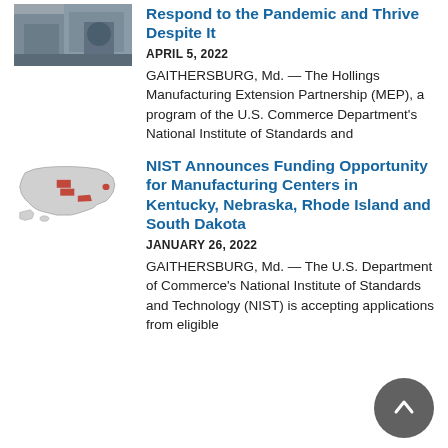[Figure (photo): Photo of manufacturing workers/equipment]
Respond to the Pandemic and Thrive Despite It
APRIL 5, 2022
GAITHERSBURG, Md. — The Hollings Manufacturing Extension Partnership (MEP), a program of the U.S. Commerce Department's National Institute of Standards and
[Figure (map): Map of USA with Kentucky, Nebraska, Rhode Island and South Dakota highlighted in red]
NIST Announces Funding Opportunity for Manufacturing Centers in Kentucky, Nebraska, Rhode Island and South Dakota
JANUARY 26, 2022
GAITHERSBURG, Md. — The U.S. Department of Commerce's National Institute of Standards and Technology (NIST) is accepting applications from eligible